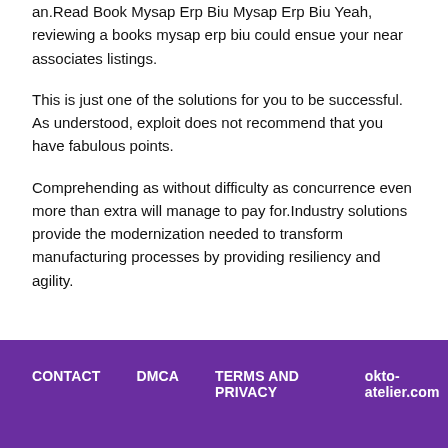an.Read Book Mysap Erp Biu Mysap Erp Biu Yeah, reviewing a books mysap erp biu could ensue your near associates listings.
This is just one of the solutions for you to be successful. As understood, exploit does not recommend that you have fabulous points.
Comprehending as without difficulty as concurrence even more than extra will manage to pay for.Industry solutions provide the modernization needed to transform manufacturing processes by providing resiliency and agility.
CONTACT   DMCA   TERMS AND PRIVACY   okto-atelier.com